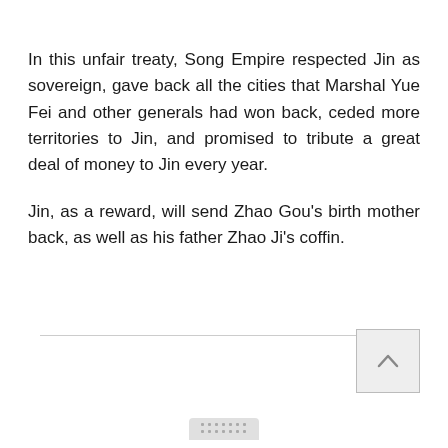In this unfair treaty, Song Empire respected Jin as sovereign, gave back all the cities that Marshal Yue Fei and other generals had won back, ceded more territories to Jin, and promised to tribute a great deal of money to Jin every year.

Jin, as a reward, will send Zhao Gou's birth mother back, as well as his father Zhao Ji's coffin.